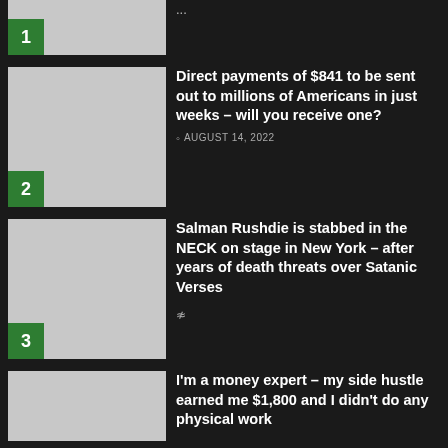1 [truncated article]
2 Direct payments of $841 to be sent out to millions of Americans in just weeks – will you receive one? AUGUST 14, 2022
3 Salman Rushdie is stabbed in the NECK on stage in New York – after years of death threats over Satanic Verses
I'm a money expert – my side hustle earned me $1,800 and I didn't do any physical work